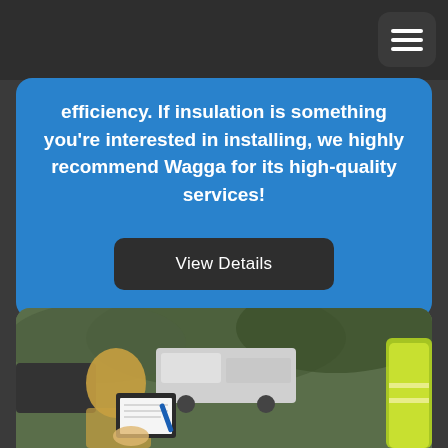[Figure (screenshot): Mobile website screenshot showing a blue card with text about insulation services and a View Details button, plus a photo below of a person with a clipboard outdoors near a truck]
efficiency. If insulation is something you're interested in installing, we highly recommend Wagga for its high-quality services!
View Details
[Figure (photo): Outdoor photo showing a person with blonde hair holding a clipboard with a pen, a white truck in the background, trees, and someone in a high-visibility yellow-green vest]